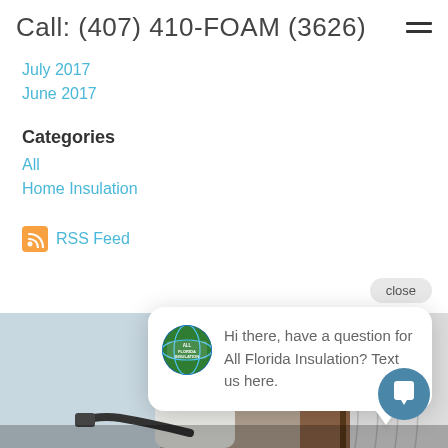Call: (407) 410-FOAM (3626)
July 2017
June 2017
Categories
All
Home Insulation
RSS Feed
[Figure (screenshot): Chat popup with close button, All Florida Insulation logo avatar, and message: Hi there, have a question for All Florida Insulation? Text us here.]
[Figure (photo): Worker in white protective suit spraying insulation indoors]